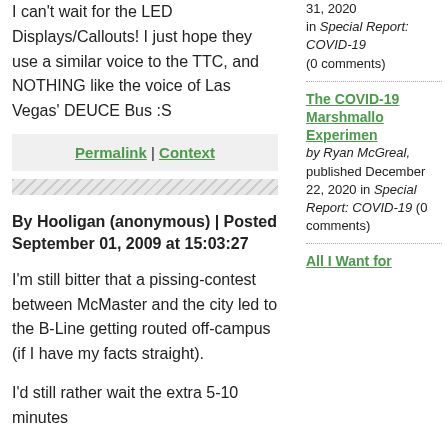I can't wait for the LED Displays/Callouts! I just hope they use a similar voice to the TTC, and NOTHING like the voice of Las Vegas' DEUCE Bus :S
Permalink | Context
By Hooligan (anonymous) | Posted September 01, 2009 at 15:03:27
I'm still bitter that a pissing-contest between McMaster and the city led to the B-Line getting routed off-campus (if I have my facts straight).
I'd still rather wait the extra 5-10 minutes
31, 2020 in Special Report: COVID-19 (0 comments)
The COVID-19 Marshmallow Experiment
by Ryan McGreal, published December 22, 2020 in Special Report: COVID-19 (0 comments)
All I Want for